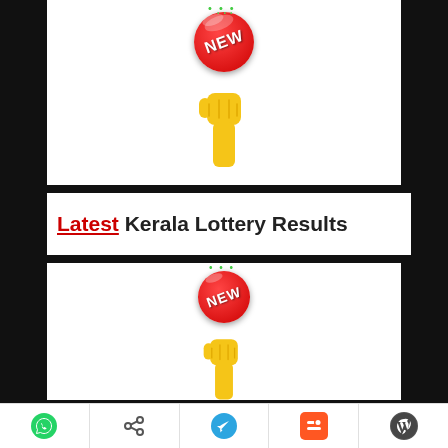[Figure (illustration): Red NEW badge with sparkles above a yellow hand pointing down icon, on white background]
Latest Kerala Lottery Results
[Figure (illustration): Red NEW badge with sparkles above a yellow hand pointing down icon, on white background (second instance)]
Which lottery is best in Kerala?